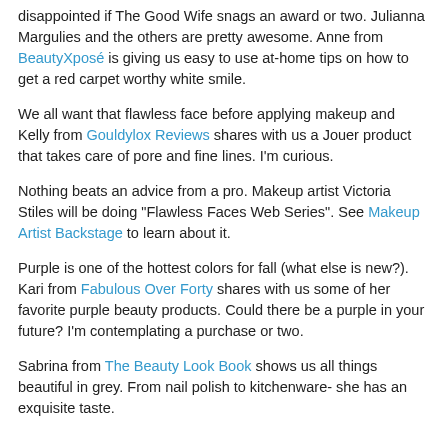disappointed if The Good Wife snags an award or two. Julianna Margulies and the others are pretty awesome. Anne from BeautyXposé is giving us easy to use at-home tips on how to get a red carpet worthy white smile.
We all want that flawless face before applying makeup and Kelly from Gouldylox Reviews shares with us a Jouer product that takes care of pore and fine lines. I'm curious.
Nothing beats an advice from a pro. Makeup artist Victoria Stiles will be doing "Flawless Faces Web Series". See Makeup Artist Backstage to learn about it.
Purple is one of the hottest colors for fall (what else is new?). Kari from Fabulous Over Forty shares with us some of her favorite purple beauty products. Could there be a purple in your future? I'm contemplating a purchase or two.
Sabrina from The Beauty Look Book shows us all things beautiful in grey. From nail polish to kitchenware- she has an exquisite taste.